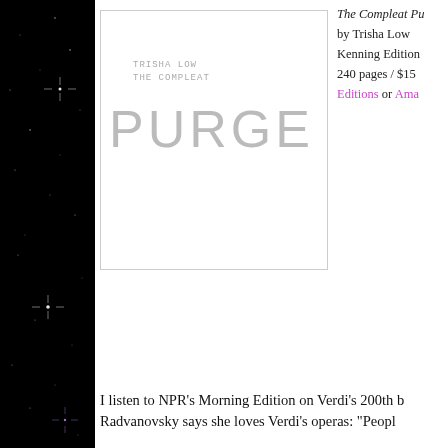[Figure (illustration): Book cover of 'The Compleat Purge' by Trisha Low — white cover with handwritten author name and subtitle in gray, large light-gray sans-serif 'PURGE' text, bordered with light gray line]
The Compleat Pu...
by Trisha Low
Kenning Edition
240 pages / $15
Editions or Ama...
I listen to NPR's Morning Edition on Verdi's 200th b...
Radvanovsky says she loves Verdi's operas: "Peopl...